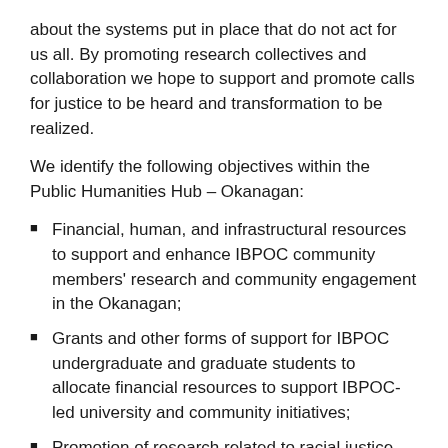about the systems put in place that do not act for us all. By promoting research collectives and collaboration we hope to support and promote calls for justice to be heard and transformation to be realized.
We identify the following objectives within the Public Humanities Hub – Okanagan:
Financial, human, and infrastructural resources to support and enhance IBPOC community members' research and community engagement in the Okanagan;
Grants and other forms of support for IBPOC undergraduate and graduate students to allocate financial resources to support IBPOC-led university and community initiatives;
Promotion of research related to racial justice and to struggles against racial capitalism, settler